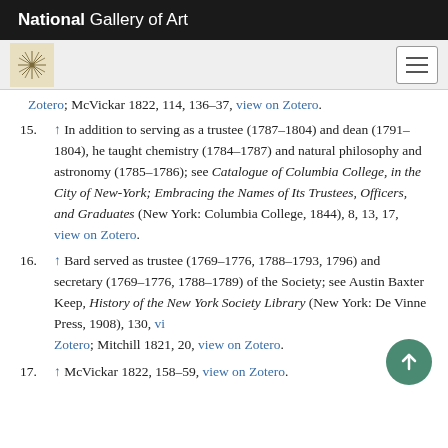National Gallery of Art
↑ Zotero; McVickar 1822, 114, 136–37, view on Zotero. (partial, top of page)
15. ↑ In addition to serving as a trustee (1787–1804) and dean (1791–1804), he taught chemistry (1784–1787) and natural philosophy and astronomy (1785–1786); see Catalogue of Columbia College, in the City of New-York; Embracing the Names of Its Trustees, Officers, and Graduates (New York: Columbia College, 1844), 8, 13, 17, view on Zotero.
16. ↑ Bard served as trustee (1769–1776, 1788–1793, 1796) and secretary (1769–1776, 1788–1789) of the Society; see Austin Baxter Keep, History of the New York Society Library (New York: De Vinne Press, 1908), 130, view on Zotero; Mitchill 1821, 20, view on Zotero.
17. ↑ McVickar 1822, 158–59, view on Zotero.